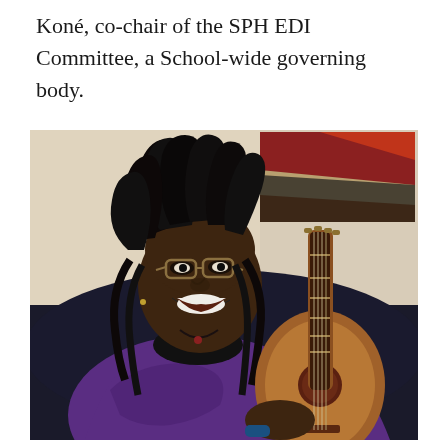Koné, co-chair of the SPH EDI Committee, a School-wide governing body.
[Figure (photo): A smiling woman with dreadlocks and glasses, wearing a purple patterned blazer over a black top, seated on a dark sofa and holding a ukulele. A colorful abstract painting is visible on the wall behind her.]